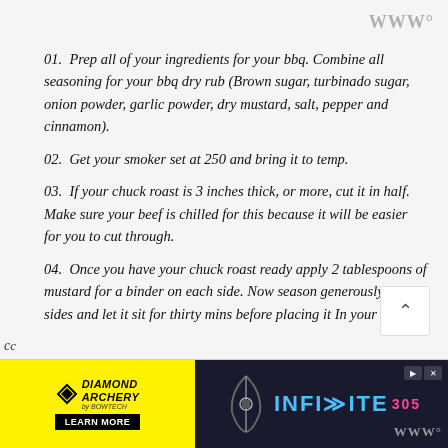WWW°
01.  Prep all of your ingredients for your bbq. Combine all seasoning for your bbq dry rub (Brown sugar, turbinado sugar, onion powder, garlic powder, dry mustard, salt, pepper and cinnamon).
02.  Get your smoker set at 250 and bring it to temp.
03.  If your chuck roast is 3 inches thick, or more, cut it in half. Make sure your beef is chilled for this because it will be easier for you to cut through.
04.  Once you have your chuck roast ready apply 2 tablespoons of mustard for a binder on each side. Now season generously on all sides and let it sit for thirty mins before placing it In your smoker.
[Figure (advertisement): Diamond Archery advertisement banner with yellow left panel showing logo and LEARN MORE button, and dark right panel showing archery bow image and INFINITE 305 branding in blue text]